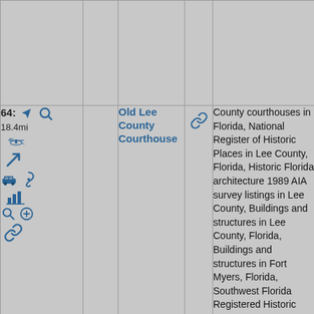| Controls | Link | Name | Link2 | Categories | Photo |
| --- | --- | --- | --- | --- | --- |
| 64: 18.4mi [icons] | [link] | Old Lee County Courthouse | [link] | County courthouses in Florida, National Register of Historic Places in Lee County, Florida, Historic Florida architecture 1989 AIA survey listings in Lee County, Buildings and structures in Lee County, Florida, Buildings and structures in Fort Myers, Florida, Southwest Florida Registered Historic Place stubs, Hidden categories:, Articles sourced only to NRIS from November 2013, All articles sourced only to NRIS, | [photo of courthouse] |